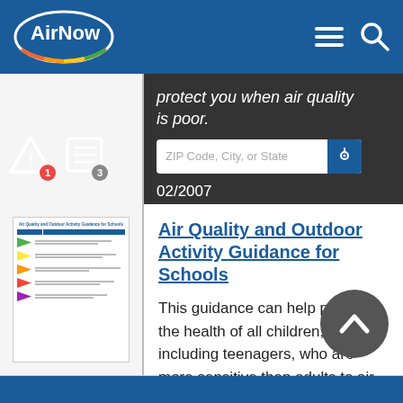AirNow
protect you when air quality is poor.
02/2007
Air Quality and Outdoor Activity Guidance for Schools
[Figure (screenshot): Thumbnail image of the Air Quality and Outdoor Activity Guidance for Schools document, showing a table with colored flag rows for different AQI categories]
This guidance can help protect the health of all children, including teenagers, who are more sensitive than adults to air pollution.
08/2014